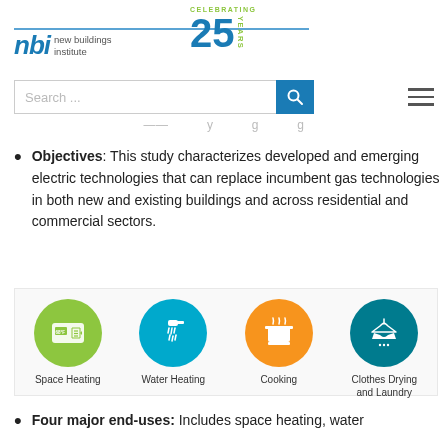[Figure (logo): New Buildings Institute logo with 'nbi new buildings institute' text and 'Celebrating 25 Years' badge]
Objectives: This study characterizes developed and emerging electric technologies that can replace incumbent gas technologies in both new and existing buildings and across residential and commercial sectors.
[Figure (infographic): Four icons in circles: Space Heating (green circle with thermostat icon), Water Heating (teal circle with shower icon), Cooking (orange circle with pot/cooking icon), Clothes Drying and Laundry (dark teal circle with shirt/hanger icon)]
Four major end-uses: Includes space heating, water